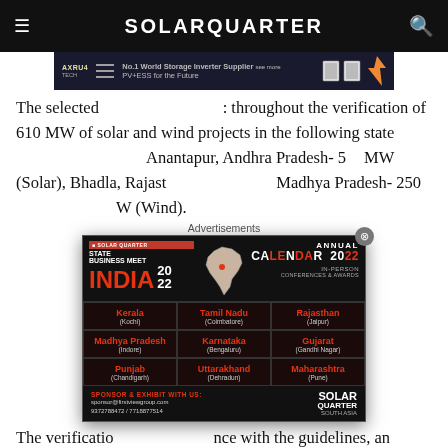SOLARQUARTER
[Figure (screenshot): Banner advertisement for AXRU4 TECH: No.1 World Storage Inverter Supplier with tagline PV+ESS for the Future]
The selected [obscured] throughout the verification of 610 MW of solar and wind projects in the following states: Anantapur, Andhra Pradesh- 50 MW (Solar), Bhadla, Rajasthan [obscured] Madhya Pradesh- 250 [obscured] W (Wind).
[Figure (screenshot): Solar Quarter State Business Meet India 2022 advertisement overlay showing Annual Calendar 2022, In-Person Conferences & Awards, with states: Kerala (Kochi), Tamil Nadu (Coimbatore), Rajasthan (Jaipur), Madhya Pradesh (Indore), Karnataka (Bengaluru), Gujarat (Gandhi Nagar), Punjab (Chandigarh), Uttarakhand (Dehradun), Maharashtra (Pune). Sponsor & Exhibit contact: sponsor@firstviewgroup.com, 9372788472/7718877514. Solar Quarter South Asia logo.]
The verification [obscured] ance with the guidelines, and [obscured] e to time. Also, any linge[obscured] ence on the final verificatio[obscured] municated to the engineer in charge by the contractor.
Following verification, the consultant shall submit a report detailing the confirmed number of VERs for the verification to the VCS board for the issuance of a verification